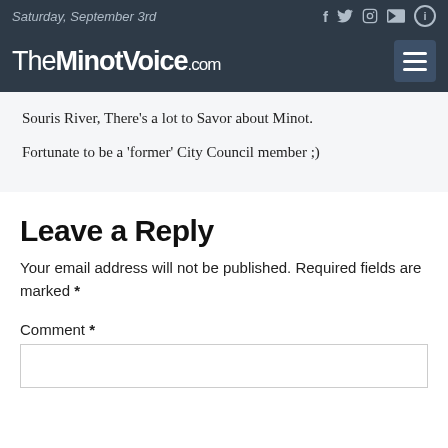Saturday, September 3rd
Souris River, There's a lot to Savor about Minot. Fortunate to be a 'former' City Council member ;)
Leave a Reply
Your email address will not be published. Required fields are marked *
Comment *